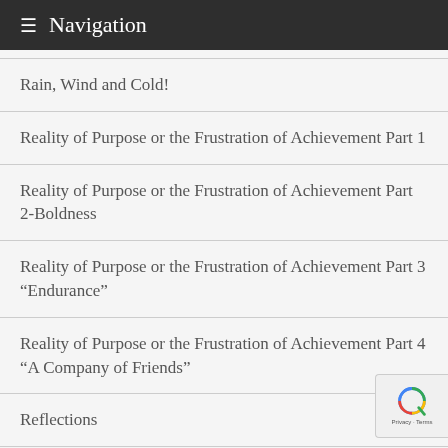Navigation
Rain, Wind and Cold!
Reality of Purpose or the Frustration of Achievement Part 1
Reality of Purpose or the Frustration of Achievement Part 2-Boldness
Reality of Purpose or the Frustration of Achievement Part 3 “Endurance”
Reality of Purpose or the Frustration of Achievement Part 4 “A Company of Friends”
Reflections